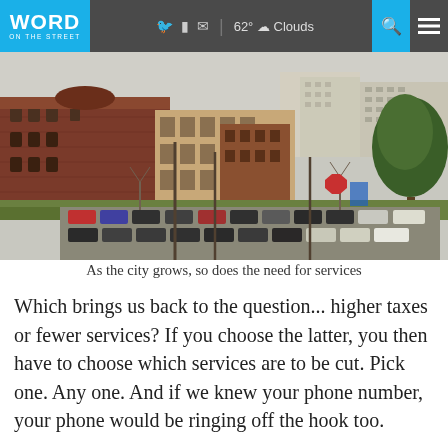WORD ON THE STREET | 62° Clouds
[Figure (photo): Aerial/street-level view of a city downtown area with historic brick buildings, a parking lot filled with cars, bare trees, and modern buildings in the background.]
As the city grows, so does the need for services
Which brings us back to the question... higher taxes or fewer services?  If you choose the latter, you then have to choose which services are to be cut.  Pick one.  Any one.  And if we knew your phone number, your phone would be ringing off the hook too.